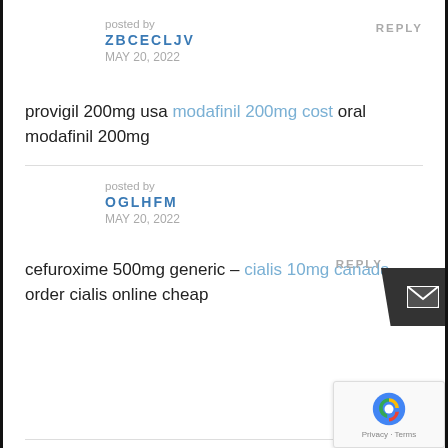posted by
ZBCECLJV
MAY 20, 2022
REPLY
provigil 200mg usa modafinil 200mg cost oral modafinil 200mg
posted by
OGLHFM
MAY 20, 2022
REPLY
cefuroxime 500mg generic – cialis 10mg canada order cialis online cheap